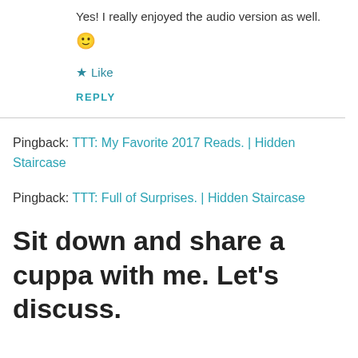Yes! I really enjoyed the audio version as well.
🙂
★ Like
REPLY
Pingback: TTT: My Favorite 2017 Reads. | Hidden Staircase
Pingback: TTT: Full of Surprises. | Hidden Staircase
Sit down and share a cuppa with me. Let's discuss.